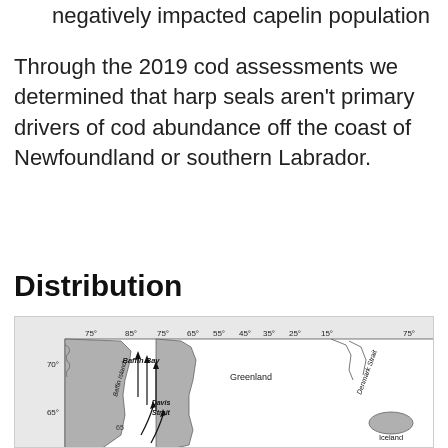negatively impacted capelin population
Through the 2019 cod assessments we determined that harp seals aren't primary drivers of cod abundance off the coast of Newfoundland or southern Labrador.
Distribution
[Figure (map): Map showing the distribution of harp seals around Baffin Bay, Davis Strait, Greenland, Denmark Strait, and Iceland. Arrows indicate movement directions northward through Baffin Bay. Latitude lines at 65°, 70° and longitude labels 75°, 85°, 75°, 65°, 55°, 45°, 35°, 25°, 15°, 75° are shown.]